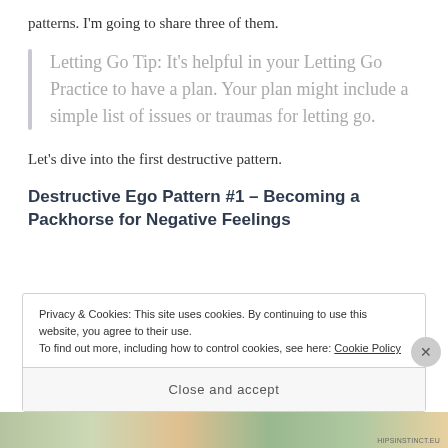patterns. I'm going to share three of them.
Letting Go Tip: It's helpful in your Letting Go Practice to have a plan. Your plan might include a simple list of issues or traumas for letting go.
Let's dive into the first destructive pattern.
Destructive Ego Pattern #1 – Becoming a Packhorse for Negative Feelings
Privacy & Cookies: This site uses cookies. By continuing to use this website, you agree to their use.
To find out more, including how to control cookies, see here: Cookie Policy
Close and accept